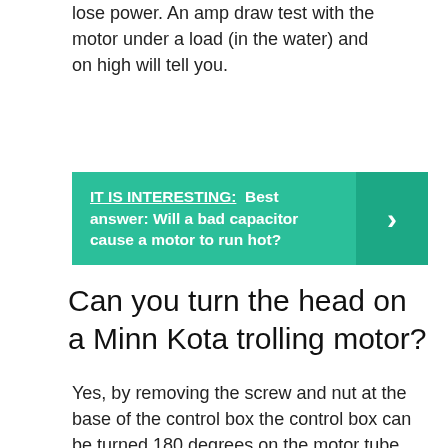lose power. An amp draw test with the motor under a load (in the water) and on high will tell you.
IT IS INTERESTING:  Best answer: Will a bad capacitor cause a motor to run hot?
Can you turn the head on a Minn Kota trolling motor?
Yes, by removing the screw and nut at the base of the control box the control box can be turned 180 degrees on the motor tube, then reinstall the locating screw and nut (being careful not to pinch or damage the motor wires inside the tube), tighten the screw and nut as required, and the job is